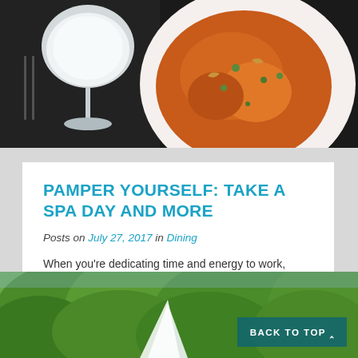[Figure (photo): Food photo showing a white plate with chicken in orange/red sauce and a white cocktail glass on a dark background]
PAMPER YOURSELF: TAKE A SPA DAY AND MORE
Posts on July 27, 2017 in Dining
When you're dedicating time and energy to work, family and a slew of other responsibilities, life can get hectic. If you're feeling overworked or simply...
READ MORE
[Figure (photo): Outdoor photo showing lush green trees with a white tent or sail visible, and a teal 'BACK TO TOP' button overlay]